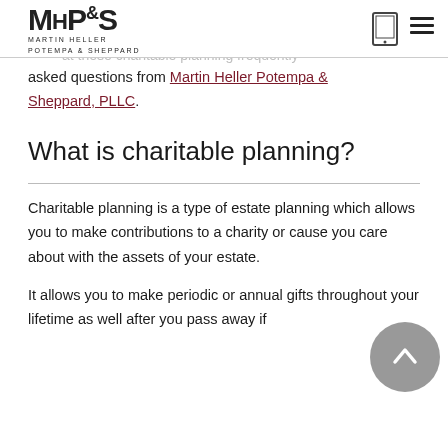[Figure (logo): MHP&S Martin Heller Potempa & Sheppard law firm logo]
your distribution to your heirs. But determining the proper trust can be difficult and mistakes can happen. Take a look at these charitable planning frequently asked questions from Martin Heller Potempa & Sheppard, PLLC.
What is charitable planning?
Charitable planning is a type of estate planning which allows you to make contributions to a charity or cause you care about with the assets of your estate.
It allows you to make periodic or annual gifts throughout your lifetime as well after you pass away if